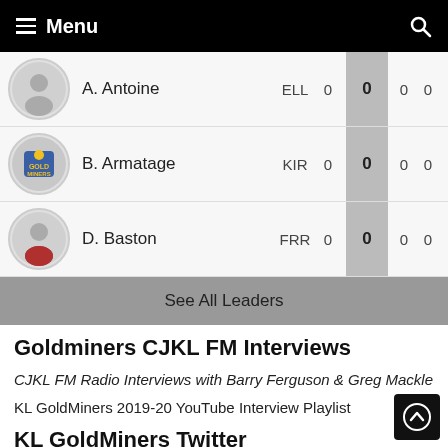Menu
| Player | Team |  | Score |  |  |
| --- | --- | --- | --- | --- | --- |
| A. Antoine | ELL | 0 | 0 | 0 | 0 |
| B. Armatage | KIR | 0 | 0 | 0 | 0 |
| D. Baston | FRR | 0 | 0 | 0 | 0 |
See All Leaders
Goldminers CJKL FM Interviews
CJKL FM Radio Interviews with Barry Ferguson & Greg Mackle
KL GoldMiners 2019-20 YouTube Interview Playlist
KL GoldMiners Twitter